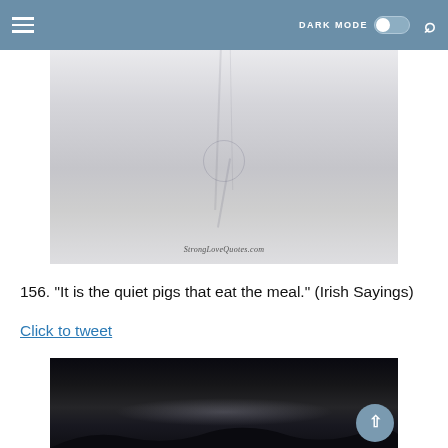DARK MODE [toggle] [search]
[Figure (photo): A misty, pale gray atmospheric photo showing a faint reflection of tree branches and a circular mechanical element (possibly a wheel or ornament) on a calm water surface. Watermark reads: StrongLoveQuotes.com]
156. "It is the quiet pigs that eat the meal." (Irish Sayings)
Click to tweet
[Figure (photo): A dark nighttime or twilight landscape photo with a subtle glow of light on the horizon and dark silhouetted hills at the bottom.]